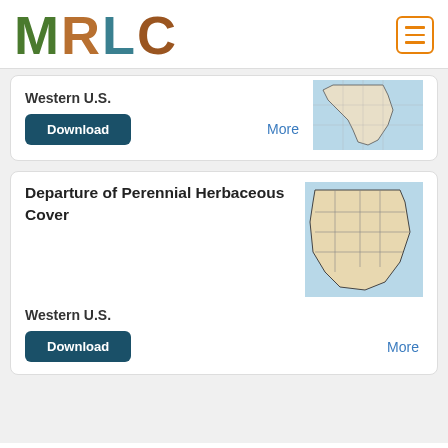[Figure (logo): MRLC logo with nature-themed letters]
Western U.S.
Download
More
Departure of Perennial Herbaceous Cover
Western U.S.
Download
More